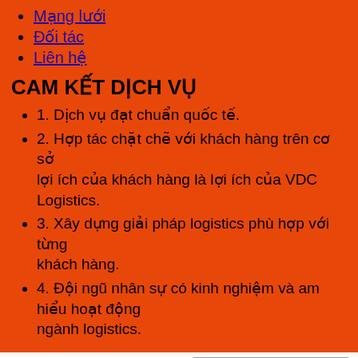Mạng lưới
Đối tác
Liên hệ
CAM KẾT DỊCH VỤ
1. Dịch vụ đạt chuẩn quốc tế.
2. Hợp tác chặt chẽ với khách hàng trên cơ sở lợi ích của khách hàng là lợi ích của VDC Logistics.
3. Xây dựng giải pháp logistics phù hợp với từng khách hàng.
4. Đội ngũ nhân sự có kinh nghiệm và am hiểu hoạt động
ngành logistics.
Copyright 2020 © VDC logistics
Giới thiệu
Giới thiệu về logistics
Quá trình phát triển
Văn hóa công ty
Sơ đồ công ty
Dịch vụ
Vận tải đường biển